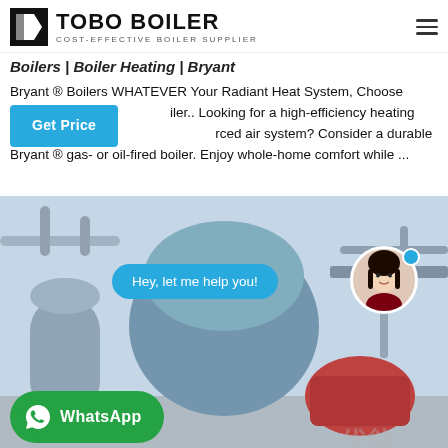TOBO BOILER — COST-EFFECTIVE BOILER SUPPLIER
Boilers | Boiler Heating | Bryant
Bryant ® Boilers WHATEVER Your Radiant Heat System, Choose [Get Price] iler.. Looking for a high-efficiency heating solution [rced] air system? Consider a durable Bryant ® gas- or oil-fired boiler. Enjoy whole-home comfort while ...
[Figure (photo): Industrial boiler equipment in a factory setting, showing large cylindrical boilers. Overlaid: a cyan chat bubble saying 'Hey, let me help you!', a circular avatar of a woman, an online status dot, and a green WhatsApp button.]